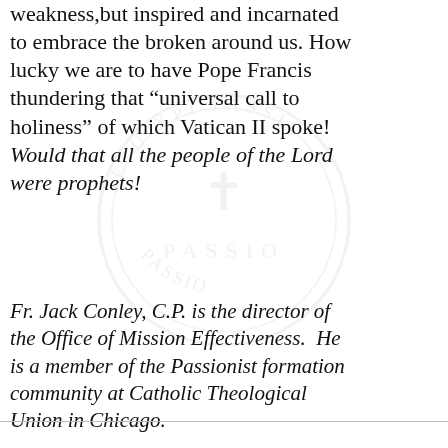weakness,but inspired and incarnated to embrace the broken around us. How lucky we are to have Pope Francis thundering that “universal call to holiness” of which Vatican II spoke! Would that all the people of the Lord were prophets!
[Figure (logo): Circular Passionist seal watermark with text 'JESU XPI PASSIO' around the border and 'PASSIO' in the center]
Fr. Jack Conley, C.P. is the director of the Office of Mission Effectiveness. He is a member of the Passionist formation community at Catholic Theological Union in Chicago.